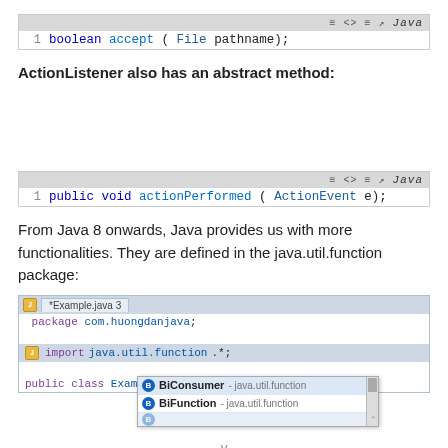[Figure (screenshot): Code block showing: 1  boolean accept(File pathname); with Java label in top-right toolbar]
ActionListener also has an abstract method:
[Figure (screenshot): Code block showing: 1  public void actionPerformed(ActionEvent e); with Java label in top-right toolbar]
From Java 8 onwards, Java provides us with more functionalities. They are defined in the java.util.function package:
[Figure (screenshot): Eclipse IDE screenshot showing *Example.java tab with code: package com.huongdanjava; import java.util.function.*; public class Example { with autocomplete popup showing BiConsumer - java.util.function and BiFunction - java.util.function]